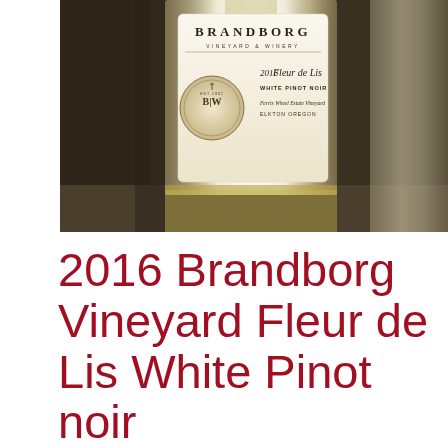[Figure (photo): Close-up photograph of a Brandborg Vineyard & Winery bottle labeled '2016 Fleur de Lis White Pinot Noir, Ferris Wheel Estate Vineyard, Elkton Oregon', set against a dark wooden background with another bottle partially visible on the right.]
2016 Brandborg Vineyard Fleur de Lis White Pinot noir